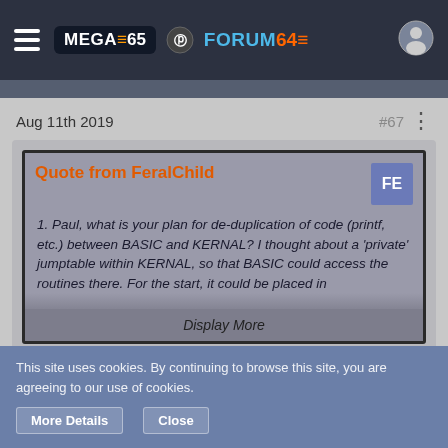MEGA65 FORUM64
Aug 11th 2019    #67
Quote from FeralChild
1. Paul, what is your plan for de-duplication of code (printf, etc.) between BASIC and KERNAL? I thought about a 'private' jumptable within KERNAL, so that BASIC could access the routines there. For the start, it could be placed in
Display More
For 1, this sounds ok to me.
This site uses cookies. By continuing to browse this site, you are agreeing to our use of cookies.
More Details    Close